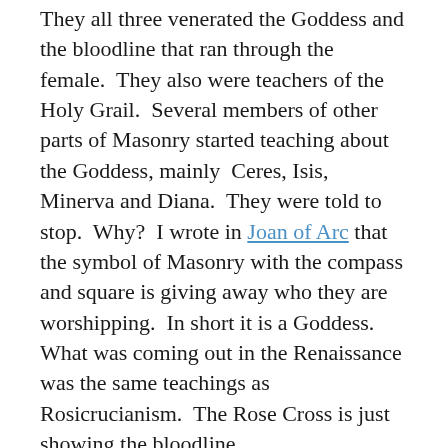They all three venerated the Goddess and the bloodline that ran through the female.  They also were teachers of the Holy Grail.  Several members of other parts of Masonry started teaching about the Goddess, mainly  Ceres, Isis, Minerva and Diana.  They were told to stop.  Why?  I wrote in Joan of Arc that the symbol of Masonry with the compass and square is giving away who they are worshipping.  In short it is a Goddess.  What was coming out in the Renaissance was the same teachings as Rosicrucianism.  The Rose Cross is just showing the bloodline.
The Sinclair family was knee-deep in the teachings because they were from France. They went to Scotland and built the Ros...